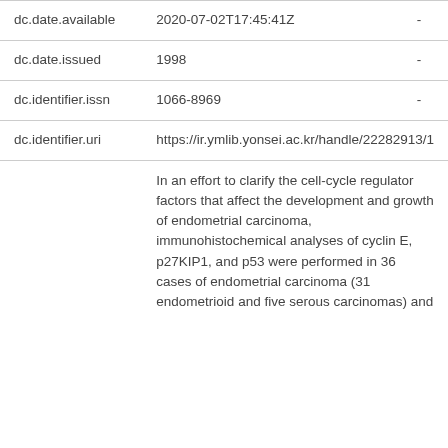| Field | Value |  |
| --- | --- | --- |
| dc.date.available | 2020-07-02T17:45:41Z | - |
| dc.date.issued | 1998 | - |
| dc.identifier.issn | 1066-8969 | - |
| dc.identifier.uri | https://ir.ymlib.yonsei.ac.kr/handle/22282913/1 |  |
|  | In an effort to clarify the cell-cycle regulator factors that affect the development and growth of endometrial carcinoma, immunohistochemical analyses of cyclin E, p27KIP1, and p53 were performed in 36 cases of endometrial carcinoma (31 endometrioid and five serous carcinomas) and |  |